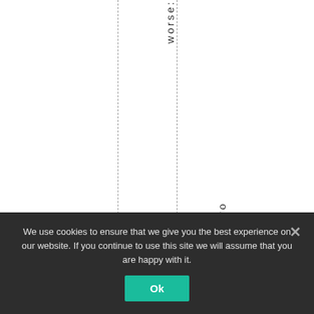worse:
Foodbankpro
We use cookies to ensure that we give you the best experience on our website. If you continue to use this site we will assume that you are happy with it.